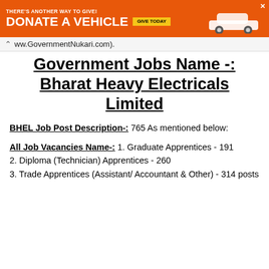[Figure (other): Orange advertisement banner: 'THERE'S ANOTHER WAY TO GIVE! DONATE A VEHICLE GIVE TODAY' with a car image]
ww.GovernmentNukari.com).
Government Jobs Name -: Bharat Heavy Electricals Limited
BHEL Job Post Description-: 765 As mentioned below:
All Job Vacancies Name-: 1. Graduate Apprentices - 191
2. Diploma (Technician) Apprentices - 260
3. Trade Apprentices (Assistant/ Accountant & Other) - 314 posts